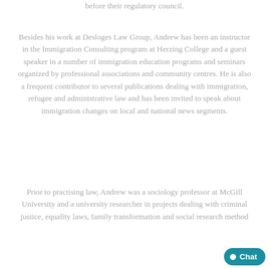before their regulatory council.
Besides his work at Desloges Law Group, Andrew has been an instructor in the Immigration Consulting program at Herzing College and a guest speaker in a number of immigration education programs and seminars organized by professional associations and community centres. He is also a frequent contributor to several publications dealing with immigration, refugee and administrative law and has been invited to speak about immigration changes on local and national news segments.
Prior to practising law, Andrew was a sociology professor at McGill University and a university researcher in projects dealing with criminal justice, equality laws, family transformation and social research method...